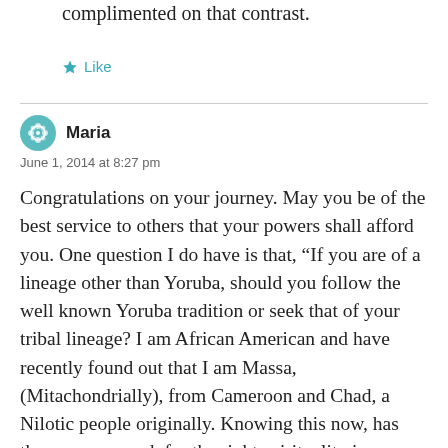complimented on that contrast.
Like
Maria
June 1, 2014 at 8:27 pm
Congratulations on your journey. May you be of the best service to others that your powers shall afford you. One question I do have is that, “If you are of a lineage other than Yoruba, should you follow the well known Yoruba tradition or seek that of your tribal lineage? I am African American and have recently found out that I am Massa, (Mitachondrially), from Cameroon and Chad, a Nilotic people originally. Knowing this now, has thrown my search for the right spirituality in a tailspin. Or should it matter?